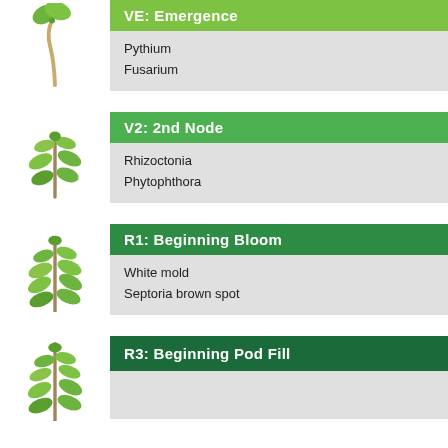VE: Emergence
Pythium
Fusarium
[Figure (illustration): Seedling at VE emergence stage with two cotyledon leaves and curved hypocotyl]
V2: 2nd Node
Rhizoctonia
Phytophthora
[Figure (illustration): Young soybean plant at V2 stage with small compound leaves]
R1: Beginning Bloom
White mold
Septoria brown spot
[Figure (illustration): Soybean plant at R1 beginning bloom stage with fuller compound leaves]
R3: Beginning Pod Fill
[Figure (illustration): Soybean plant at R3 beginning pod fill stage, partially visible]